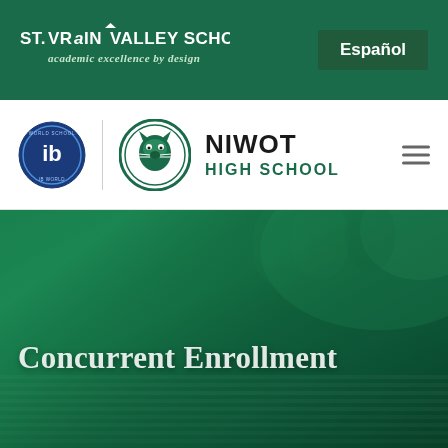[Figure (screenshot): St. Vrain Valley Schools top green navigation banner with district logo on left and Español button on right]
[Figure (screenshot): Niwot High School navigation bar with IB logo, school mascot logo, school name NIWOT HIGH SCHOOL, and hamburger menu icon]
[Figure (photo): Large hero image with green overlay showing stacked books/papers, with text Concurrent Enrollment overlaid in white]
Concurrent Enrollment